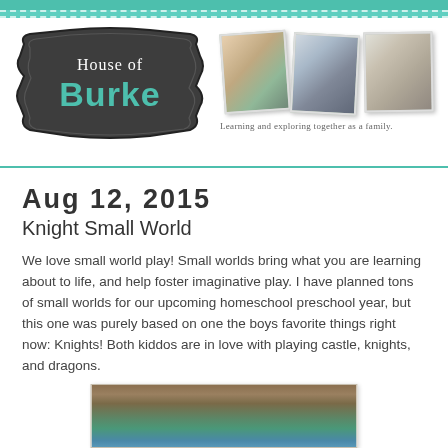House of Burke — Learning and exploring together as a family.
Aug 12, 2015
Knight Small World
We love small world play! Small worlds bring what you are learning about to life, and help foster imaginative play. I have planned tons of small worlds for our upcoming homeschool preschool year, but this one was purely based on one the boys favorite things right now: Knights! Both kiddos are in love with playing castle, knights, and dragons.
[Figure (photo): Photo of a knight small world play setup with figurines, greenery, and a blue water element]